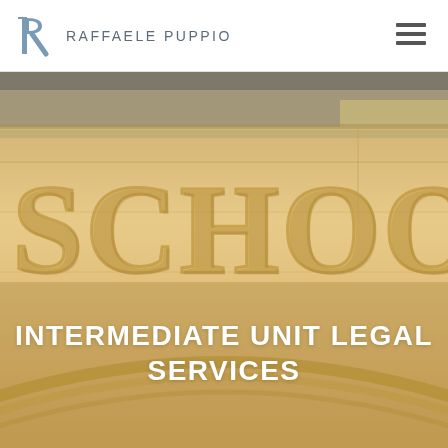RAFFAELE PUPPIO
[Figure (photo): Stone building facade with the word SCHOOL engraved in large letters, overlaid with a warm golden/sepia tone. The image shows architectural stonework with carved lettering.]
INTERMEDIATE UNIT LEGAL SERVICES